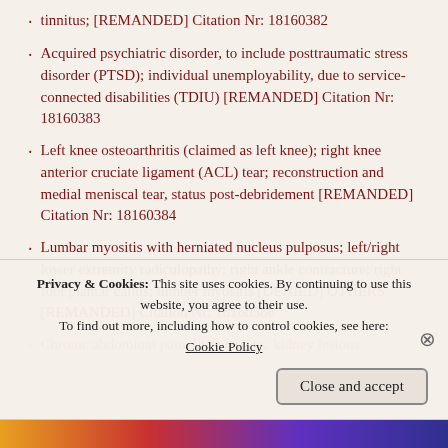tinnitus; [REMANDED] Citation Nr: 18160382
Acquired psychiatric disorder, to include posttraumatic stress disorder (PTSD); individual unemployability, due to service-connected disabilities (TDIU) [REMANDED] Citation Nr: 18160383
Left knee osteoarthritis (claimed as left knee); right knee anterior cruciate ligament (ACL) tear; reconstruction and medial meniscal tear, status post-debridement [REMANDED] Citation Nr: 18160384
Lumbar myositis with herniated nucleus pulposus; left/right lower extremity radiculopathy; right ankle contracture; right foot plantar callus; lumber myositis [DENIED] OTHERS [REMANDED] Citation Nr: 18160386
Chronic abdominal pain, liver lesions, kidney lesions [partially visible]
Privacy & Cookies: This site uses cookies. By continuing to use this website, you agree to their use. To find out more, including how to control cookies, see here: Cookie Policy
Close and accept